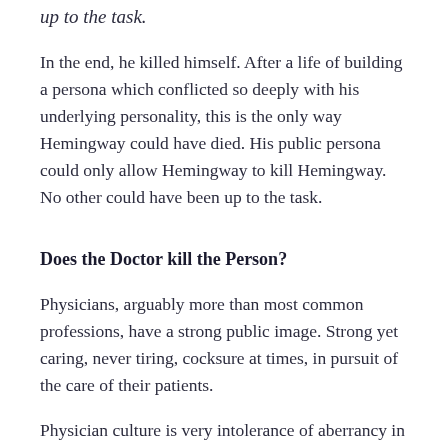up to the task.
In the end, he killed himself. After a life of building a persona which conflicted so deeply with his underlying personality, this is the only way Hemingway could have died. His public persona could only allow Hemingway to kill Hemingway. No other could have been up to the task.
Does the Doctor kill the Person?
Physicians, arguably more than most common professions, have a strong public image. Strong yet caring, never tiring, cocksure at times, in pursuit of the care of their patients.
Physician culture is very intolerance of aberrancy in this personality type. This is on display in a recent back and forth in the comments by a Douglas Hoy of